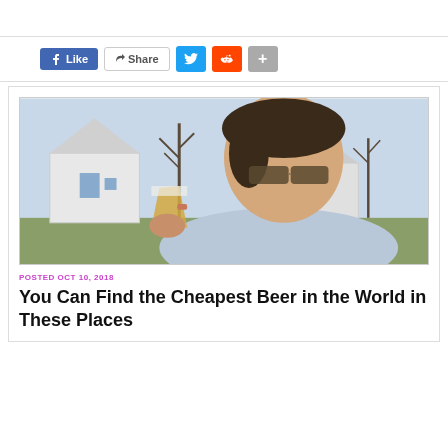[Figure (other): Top bar area, blank white space with bottom border]
[Figure (other): Social sharing buttons bar: Like (Facebook), Share, Twitter bird icon, Reddit alien icon, plus icon]
[Figure (photo): Photo of a young man with sunglasses drinking a large glass of beer outdoors, with white houses and bare trees in the background]
POSTED OCT 10, 2018
You Can Find the Cheapest Beer in the World in These Places